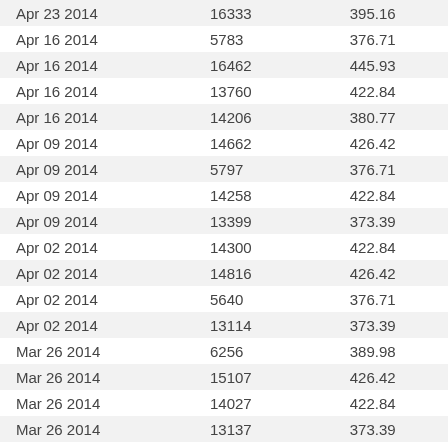| Apr 23 2014 | 16333 | 395.16 |
| Apr 16 2014 | 5783 | 376.71 |
| Apr 16 2014 | 16462 | 445.93 |
| Apr 16 2014 | 13760 | 422.84 |
| Apr 16 2014 | 14206 | 380.77 |
| Apr 09 2014 | 14662 | 426.42 |
| Apr 09 2014 | 5797 | 376.71 |
| Apr 09 2014 | 14258 | 422.84 |
| Apr 09 2014 | 13399 | 373.39 |
| Apr 02 2014 | 14300 | 422.84 |
| Apr 02 2014 | 14816 | 426.42 |
| Apr 02 2014 | 5640 | 376.71 |
| Apr 02 2014 | 13114 | 373.39 |
| Mar 26 2014 | 6256 | 389.98 |
| Mar 26 2014 | 15107 | 426.42 |
| Mar 26 2014 | 14027 | 422.84 |
| Mar 26 2014 | 13137 | 373.39 |
| Mar 19 2014 | 6356 | 389.98 |